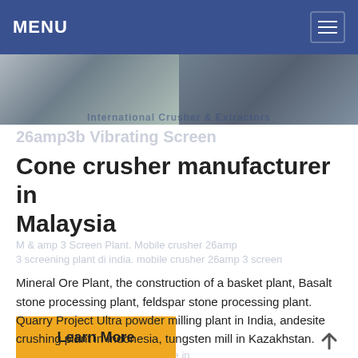MENU
[Figure (photo): Banner photo of industrial/mining equipment and processing plant on the left, and three people standing in an industrial facility on the right]
Cone crusher manufacturer in Malaysia
Mineral Ore Plant, the construction of a basket plant, Basalt stone processing plant, feldspar stone processing plant. Quarry Project Ultra powder milling plant in India, andesite crushing plant in Indonesia, tungsten mill in Kazakhstan.
Learn More